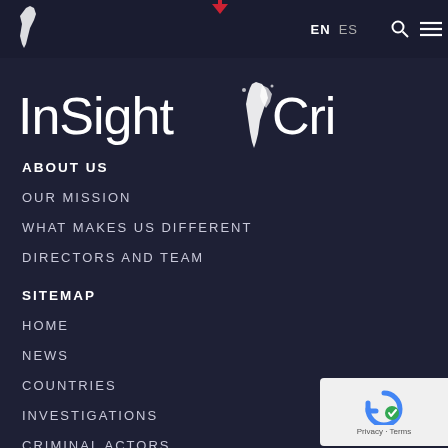EN  ES
[Figure (logo): InSight Crime logo with Latin America map silhouette]
ABOUT US
OUR MISSION
WHAT MAKES US DIFFERENT
DIRECTORS AND TEAM
SITEMAP
HOME
NEWS
COUNTRIES
INVESTIGATIONS
CRIMINAL ACTORS
INDEPTH